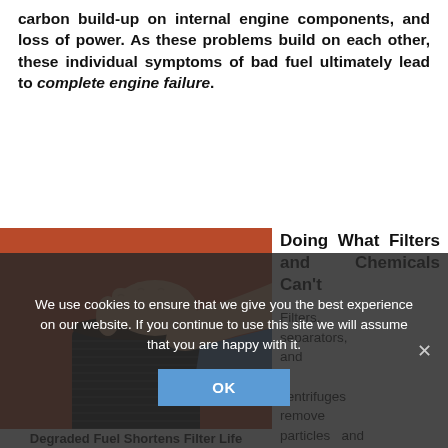carbon build-up on internal engine components, and loss of power. As these problems build on each other, these individual symptoms of bad fuel ultimately lead to complete engine failure.
[Figure (photo): A person's hand gripping a cylindrical black fuel filter from above, against a red/orange background.]
Doing What Filters and Chemicals Can't
Filters, separators, and centrifuges remove particles and free water from fuel. Biocides, commonly
Degraded Fuel Shortens Filter Life
We use cookies to ensure that we give you the best experience on our website. If you continue to use this site we will assume that you are happy with it.